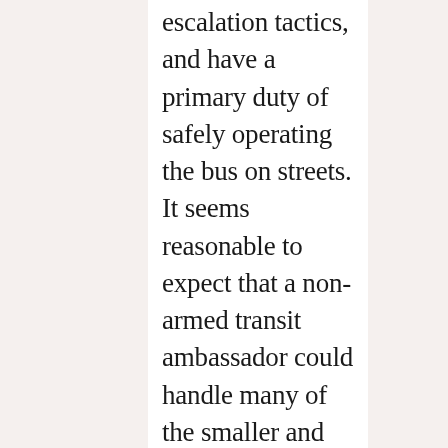escalation tactics, and have a primary duty of safely operating the bus on streets. It seems reasonable to expect that a non-armed transit ambassador could handle many of the smaller and nuisance violations.